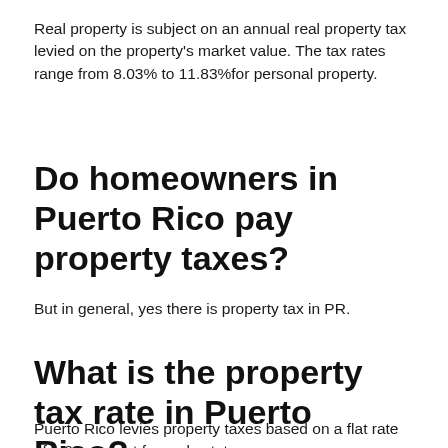Real property is subject on an annual real property tax levied on the property's market value. The tax rates range from 8.03% to 11.83%for personal property.
Do homeowners in Puerto Rico pay property taxes?
But in general, yes there is property tax in PR.
What is the property tax rate in Puerto Rico?
Puerto Rico levies property taxes based on a flat rate of 1.03 percent for real estate